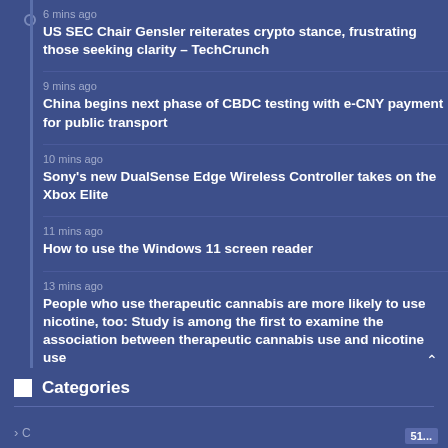6 mins ago
US SEC Chair Gensler reiterates crypto stance, frustrating those seeking clarity – TechCrunch
9 mins ago
China begins next phase of CBDC testing with e-CNY payment for public transport
10 mins ago
Sony's new DualSense Edge Wireless Controller takes on the Xbox Elite
11 mins ago
How to use the Windows 11 screen reader
13 mins ago
People who use therapeutic cannabis are more likely to use nicotine, too: Study is among the first to examine the association between therapeutic cannabis use and nicotine use
Categories